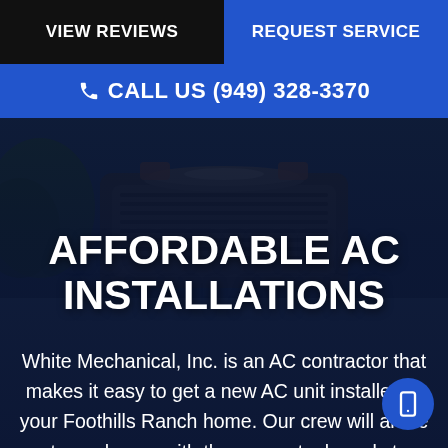VIEW REVIEWS | REQUEST SERVICE
CALL US (949) 328-3370
[Figure (photo): Background photo of an AC unit being serviced by a technician, dark blue overlay]
AFFORDABLE AC INSTALLATIONS
White Mechanical, Inc. is an AC contractor that makes it easy to get a new AC unit installed in your Foothills Ranch home. Our crew will arrive at your house with the proper tools and supplies to complete the installation promptly. They'll